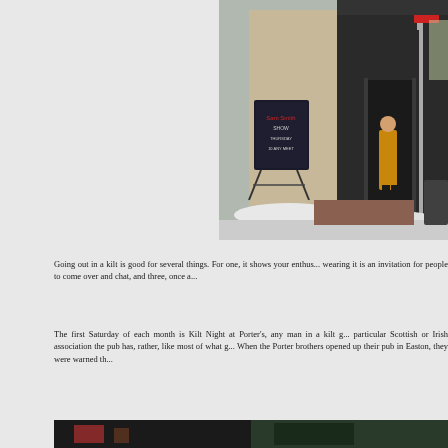[Figure (photo): Exterior of a pub/bar in winter with snow on the ground. A sandwich board sign is visible outside, a person stands near the entrance doorway, and a street pole is visible. The storefront has a dark facade.]
Going out in a kilt is good for several things. For one, it shows your enthus... wearing it is an invitation for people to come over and chat, and three, once a...
The first Saturday of each month is Kilt Night at Porter's, any man in a kilt g... particular Scottish or Irish association the pub has, rather, like most of what g... When the Porter brothers opened up their pub in Easton, they were warned th...
[Figure (photo): Bottom portion of a photo showing interior of a pub, partially cut off at bottom of page.]